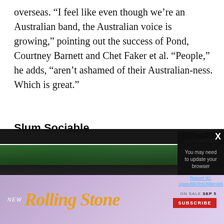overseas. “I feel like even though we’re an Australian band, the Australian voice is growing,” pointing out the success of Pond, Courtney Barnett and Chet Faker et al. “People,” he adds, “aren’t ashamed of their Australian-ness. Which is great.”
Slum Sociable
[Figure (photo): Outdoor photo showing a dark metal structure or underpass with green canopy/awning, trees and lights visible, partially obscured by a dialog box overlay.]
[Figure (screenshot): Browser dialog overlay with dark background. Title: 'Browser not compatible'. Subtitle: 'You may need to update your browser'. Link: 'Report ID: 1gasd9k3h6i3jl9mi65'. Close button X in top right corner.]
[Figure (logo): Rolling Stone magazine advertisement banner. Text: 'NEW RollingStone .com ON SALE SEP 5 SUBSCRIBE']